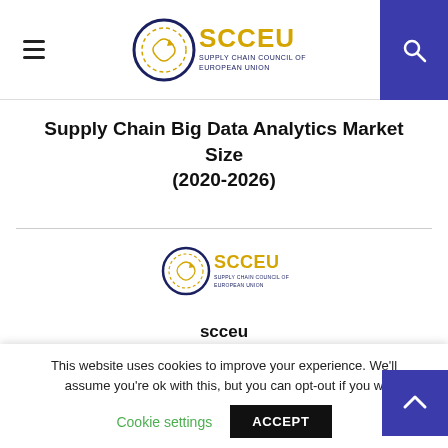SCCEU - Supply Chain Council of European Union
Supply Chain Big Data Analytics Market Size (2020-2026)
[Figure (logo): SCCEU Supply Chain Council of European Union logo]
scceu
RELATED POSTS
This website uses cookies to improve your experience. We'll assume you're ok with this, but you can opt-out if you w